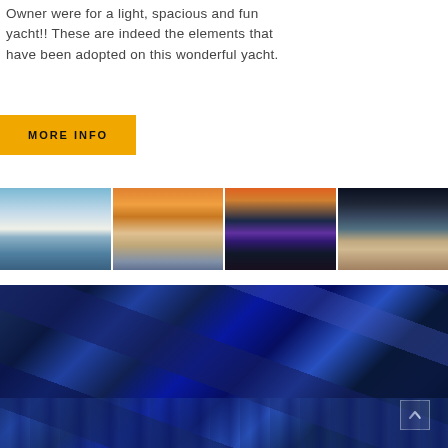Owner were for a light, spacious and fun yacht!! These are indeed the elements that have been adopted on this wonderful yacht.
[Figure (other): Yellow MORE INFO button / call to action]
[Figure (photo): Strip of four yacht photos: 1) Large white motor yacht at sea with mountains in background in daylight. 2) Sundeck/loungers at golden sunset hour over water. 3) Yacht deck with illuminated pool/jacuzzi at dusk/sunset. 4) Deck seating area with yellow lighting at night.]
[Figure (photo): Large blue-toned photo of sailing yacht hulls/keels cutting through deep blue water, taken from underwater or low angle. White chevron/up arrow button overlaid at bottom right.]